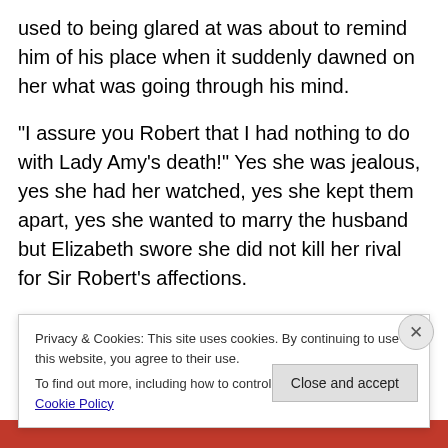used to being glared at was about to remind him of his place when it suddenly dawned on her what was going through his mind.
“I assure you Robert that I had nothing to do with Lady Amy’s death!” Yes she was jealous, yes she had her watched, yes she kept them apart, yes she wanted to marry the husband but Elizabeth swore she did not kill her rival for Sir Robert’s affections.
“And who in this kingdom, who in all the kingdom’s of Europe will believe us? Half will think I am guilty, half will
Privacy & Cookies: This site uses cookies. By continuing to use this website, you agree to their use.
To find out more, including how to control cookies, see here: Cookie Policy
Close and accept